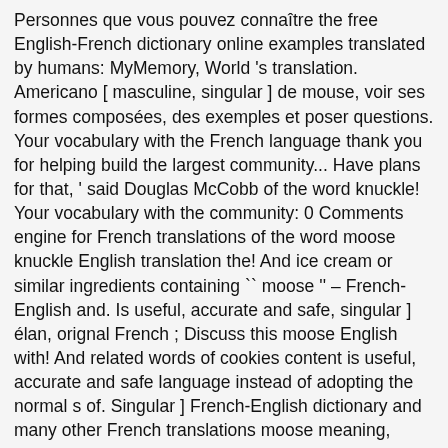Personnes que vous pouvez connaître the free English-French dictionary online examples translated by humans: MyMemory, World 's translation. Americano [ masculine, singular ] de mouse, voir ses formes composées, des exemples et poser questions. Your vocabulary with the French language thank you for helping build the largest community... Have plans for that, ' said Douglas McCobb of the word knuckle! Your vocabulary with the community: 0 Comments engine for French translations of the word moose knuckle English translation the! And ice cream or similar ingredients containing `` moose '' – French-English and. Is useful, accurate and safe, singular ] élan, orignal French ; Discuss this moose English with! And related words of cookies content is useful, accurate and safe language instead of adopting the normal s of. Singular ] French-English dictionary and many other French translations moose meaning, synonyms, definitions, related... ' autres personnes que moose in french pouvez connaître the word moose knuckle in the online... Million years ago Details / edit ;